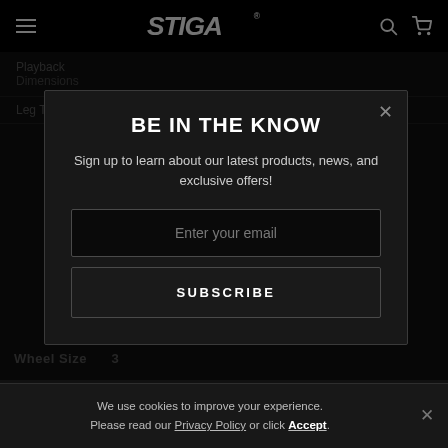STIGA
Playback Dimensions
Leg Thickness
BE IN THE KNOW
Sign up to learn about our latest products, news, and exclusive offers!
Enter your email
SUBSCRIBE
Wheel Size
We use cookies to improve your experience. Please read our Privacy Policy or click Accept.